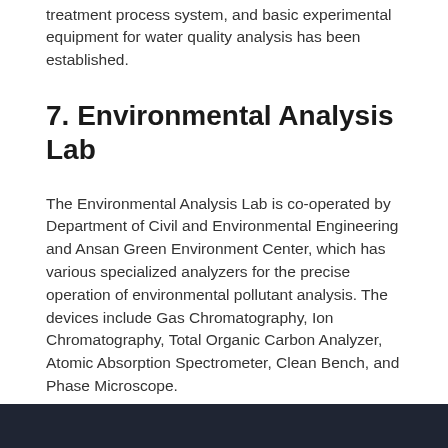treatment process system, and basic experimental equipment for water quality analysis has been established.
7. Environmental Analysis Lab
The Environmental Analysis Lab is co-operated by Department of Civil and Environmental Engineering and Ansan Green Environment Center, which has various specialized analyzers for the precise operation of environmental pollutant analysis. The devices include Gas Chromatography, Ion Chromatography, Total Organic Carbon Analyzer, Atomic Absorption Spectrometer, Clean Bench, and Phase Microscope.